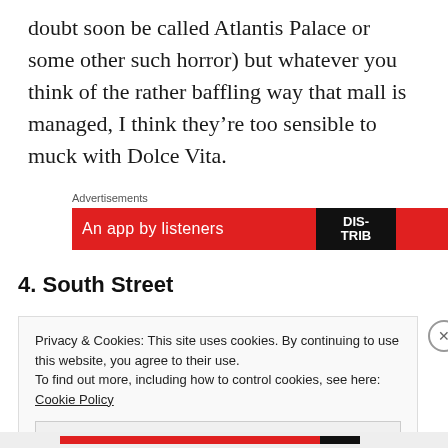doubt soon be called Atlantis Palace or some other such horror) but whatever you think of the rather baffling way that mall is managed, I think they’re too sensible to muck with Dolce Vita.
[Figure (other): Red advertisement banner with text 'An app by listeners' and a logo reading 'DIS-TRIB' on dark background]
Advertisements
4. South Street
Privacy & Cookies: This site uses cookies. By continuing to use this website, you agree to their use.
To find out more, including how to control cookies, see here: Cookie Policy